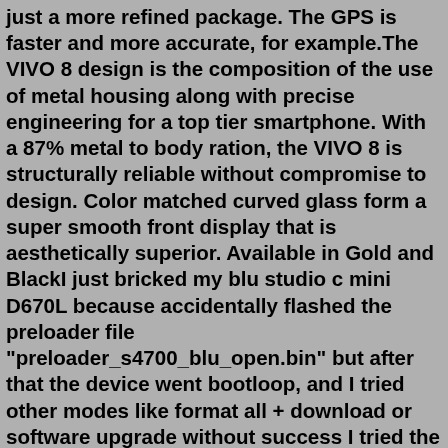just a more refined package. The GPS is faster and more accurate, for example.The VIVO 8 design is the composition of the use of metal housing along with precise engineering for a top tier smartphone. With a 87% metal to body ration, the VIVO 8 is structurally reliable without compromise to design. Color matched curved glass form a super smooth front display that is aesthetically superior. Available in Gold and BlackI just bricked my blu studio c mini D670L because accidentally flashed the preloader file "preloader_s4700_blu_open.bin" but after that the device went bootloop, and I tried other modes like format all + download or software upgrade without success I tried the preloader for my device in this trhead too, but seems not workingPhone Case for Blu View 2 with Screen Protector +Phone Stand (B130DL) / Flexible Case (Gel Rose +Tempered Glass +2in1 Ring) 1 5 out of 5 Stars. 1 reviews. BLU Vivo X6 Phone Case, New Strong Protective Kickstand Multiple Compartments Blue. $9.99. current price $9.99.Takeback Program. For More Information